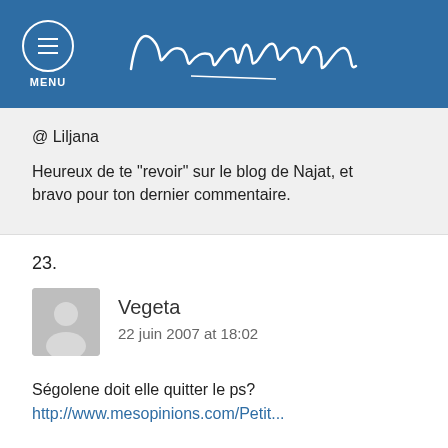Najat Vallaud-Belkacem — MENU
@ Liljana

Heureux de te "revoir" sur le blog de Najat, et bravo pour ton dernier commentaire.
23.
Vegeta
22 juin 2007 at 18:02
Ségolene doit elle quitter le ps?
http://www.mesopinions.com/Petit...